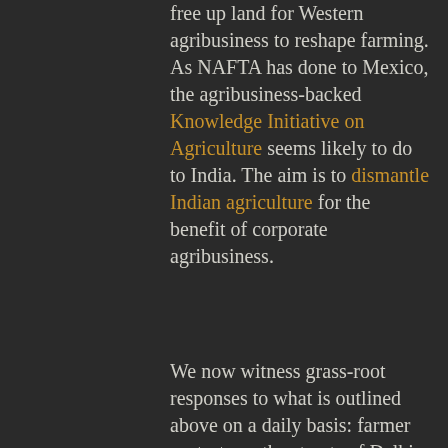free up land for Western agribusiness to reshape farming. As NAFTA has done to Mexico, the agribusiness-backed Knowledge Initiative on Agriculture seems likely to do to India. The aim is to dismantle Indian agriculture for the benefit of corporate agribusiness.
We now witness grass-root responses to what is outlined above on a daily basis: farmer protests on the streets of Delhi and local movements from Ghana to Brazil resisting the corporatization of seeds, land, water, food processing, food retail and decision making/regulatory processes.
We also see the wrecking of traditional, productive rural economies and the attack on indigenous knowledge at the behest of global agribusiness, facilitated by compliant politicians. If corporate aims cannot be achieved via trade agreements or the